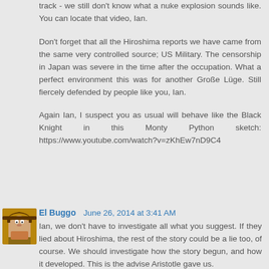track - we still don't know what a nuke explosion sounds like. You can locate that video, Ian.
Don't forget that all the Hiroshima reports we have came from the same very controlled source; US Military. The censorship in Japan was severe in the time after the occupation. What a perfect environment this was for another Große Lüge. Still fiercely defended by people like you, Ian.
Again Ian, I suspect you as usual will behave like the Black Knight in this Monty Python sketch: https://www.youtube.com/watch?v=zKhEw7nD9C4
El Buggo  June 26, 2014 at 3:41 AM
Ian, we don't have to investigate all what you suggest. If they lied about Hiroshima, the rest of the story could be a lie too, of course. We should investigate how the story begun, and how it developed. This is the advise Aristotle gave us.